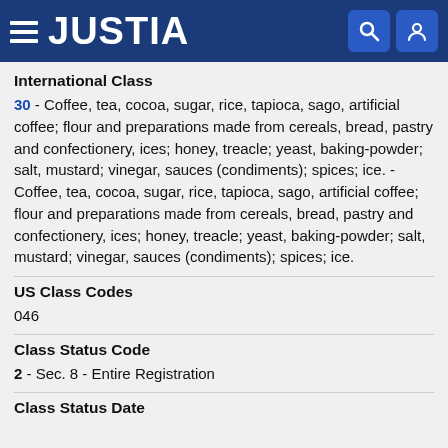JUSTIA
International Class
30 - Coffee, tea, cocoa, sugar, rice, tapioca, sago, artificial coffee; flour and preparations made from cereals, bread, pastry and confectionery, ices; honey, treacle; yeast, baking-powder; salt, mustard; vinegar, sauces (condiments); spices; ice. - Coffee, tea, cocoa, sugar, rice, tapioca, sago, artificial coffee; flour and preparations made from cereals, bread, pastry and confectionery, ices; honey, treacle; yeast, baking-powder; salt, mustard; vinegar, sauces (condiments); spices; ice.
US Class Codes
046
Class Status Code
2 - Sec. 8 - Entire Registration
Class Status Date